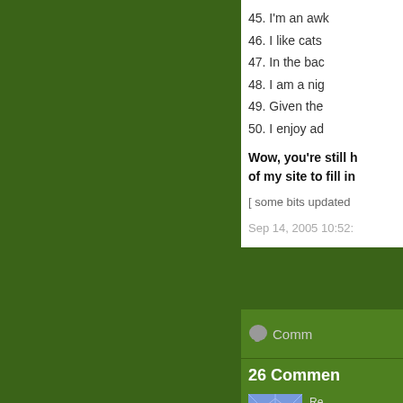45. I'm an awk
46. I like cats
47. In the bac
48. I am a nig
49. Given the
50. I enjoy ad
Wow, you're still h... of my site to fill in
[ some bits updated
Sep 14, 2005 10:52:
Comm
26 Commen
Re in 2 res